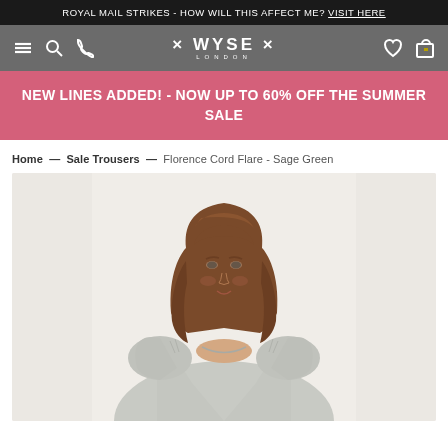ROYAL MAIL STRIKES - HOW WILL THIS AFFECT ME? VISIT HERE
[Figure (screenshot): Wyse London navigation bar with menu, search, phone icons on left, WYSE LONDON logo in center, heart and bag icons on right, on grey background]
NEW LINES ADDED! - NOW UP TO 60% OFF THE SUMMER SALE
Home — Sale Trousers — Florence Cord Flare - Sage Green
[Figure (photo): Female model with long wavy brown hair wearing a light grey short-sleeve blouse with puffed shoulders, photographed from the waist up against a white/off-white background]